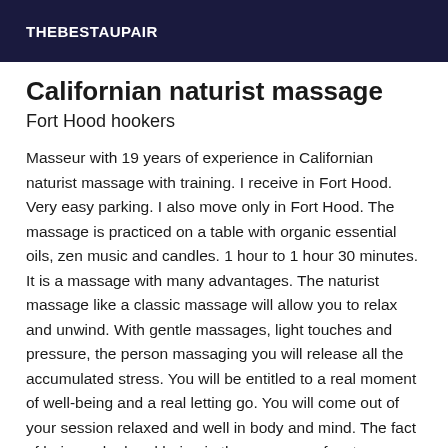THEBESTAUPAIR
Californian naturist massage
Fort Hood hookers
Masseur with 19 years of experience in Californian naturist massage with training. I receive in Fort Hood. Very easy parking. I also move only in Fort Hood. The massage is practiced on a table with organic essential oils, zen music and candles. 1 hour to 1 hour 30 minutes. It is a massage with many advantages. The naturist massage like a classic massage will allow you to relax and unwind. With gentle massages, light touches and pressure, the person massaging you will release all the accumulated stress. You will be entitled to a real moment of well-being and a real letting go. You will come out of your session relaxed and well in body and mind. The fact of being naked and being in the presence of a stranger who will also be naked will teach you to appreciate your body, to accept it without being afraid of